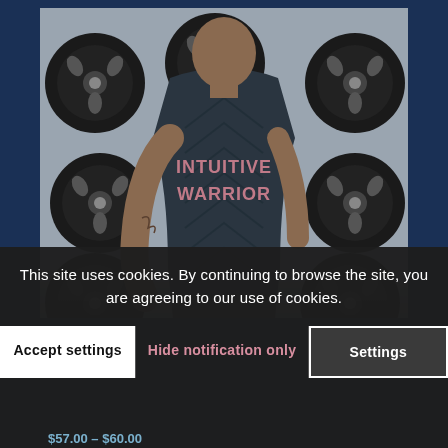[Figure (photo): Man facing away from camera wearing a dark patterned athletic shirt with 'INTUITIVE WARRIOR' printed in pink/rose letters on the back, standing in front of a wall of black weight plates in a gym setting.]
This site uses cookies. By continuing to browse the site, you are agreeing to our use of cookies.
Accept settings
Hide notification only
Settings
$57.00 – $60.00